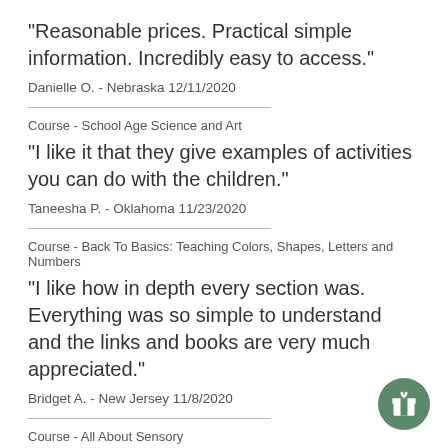"Reasonable prices. Practical simple information. Incredibly easy to access."
Danielle O. - Nebraska 12/11/2020
Course - School Age Science and Art
"I like it that they give examples of activities you can do with the children."
Taneesha P. - Oklahoma 11/23/2020
Course - Back To Basics: Teaching Colors, Shapes, Letters and Numbers
"I like how in depth every section was. Everything was so simple to understand and the links and books are very much appreciated."
Bridget A. - New Jersey 11/8/2020
Course - All About Sensory